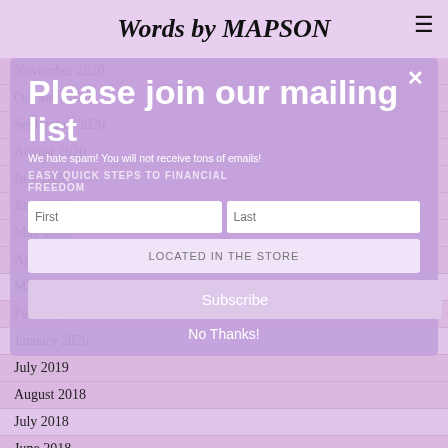Words by MAPSON
November 2020
October 2020
September 2020
August 2020
July 2020
June 2020
May 2020
April 2020
March 2020
February 2020
January 2020
July 2019
August 2018
July 2018
June 2018
May 2018
April 2018
Please join our mailing list
We hate spam! You will not receive tons of emails!
EASY QUICK STEPS TO FINANCIAL FREEDOM
Subscribe
No Thanks!